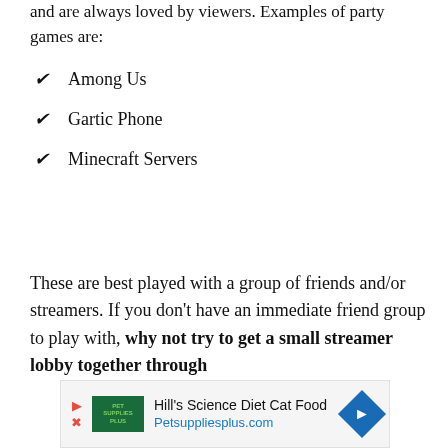and are always loved by viewers. Examples of party games are:
Among Us
Gartic Phone
Minecraft Servers
These are best played with a group of friends and/or streamers. If you don't have an immediate friend group to play with, why not try to get a small streamer lobby together through
[Figure (other): Advertisement banner for Hill's Science Diet Cat Food at Petsuppliesplus.com, featuring Pet Supplies Plus logo, play button icon, X button icon, and a blue diamond arrow icon.]